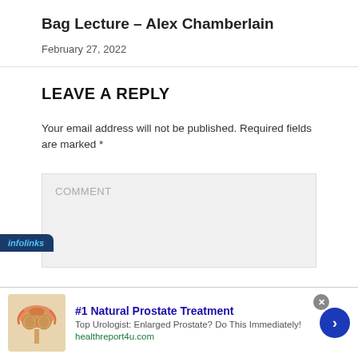Bag Lecture – Alex Chamberlain
February 27, 2022
LEAVE A REPLY
Your email address will not be published. Required fields are marked *
COMMENT
[Figure (screenshot): Infolinks advertisement badge and ad for #1 Natural Prostate Treatment from healthreport4u.com with prostate anatomy image]